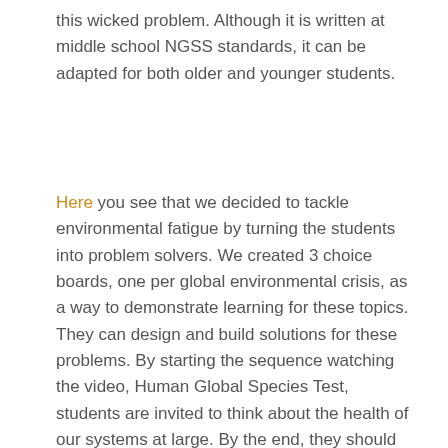this wicked problem. Although it is written at middle school NGSS standards, it can be adapted for both older and younger students.
Here you see that we decided to tackle environmental fatigue by turning the students into problem solvers. We created 3 choice boards, one per global environmental crisis, as a way to demonstrate learning for these topics. They can design and build solutions for these problems. By starting the sequence watching the video, Human Global Species Test, students are invited to think about the health of our systems at large. By the end, they should be able to better evaluate the health of our planet. By including a CER, we want students to make